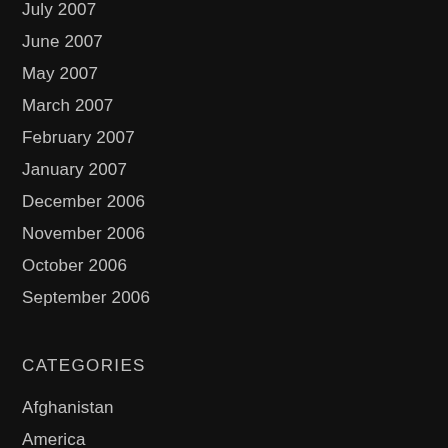July 2007
June 2007
May 2007
March 2007
February 2007
January 2007
December 2006
November 2006
October 2006
September 2006
CATEGORIES
Afghanistan
America